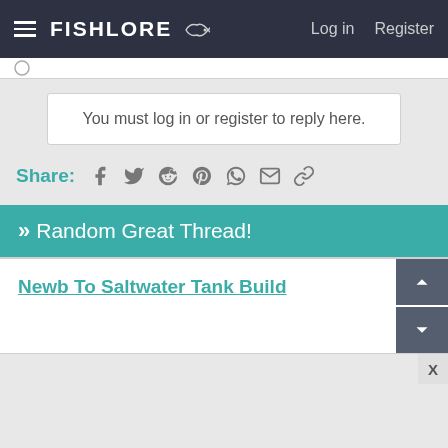FishLore | Log in | Register
You must log in or register to reply here.
Share: (social icons: Facebook, Twitter, Reddit, Pinterest, WhatsApp, Email, Link)
» Random Great Thread!
Newb To Saltwater Tank Build